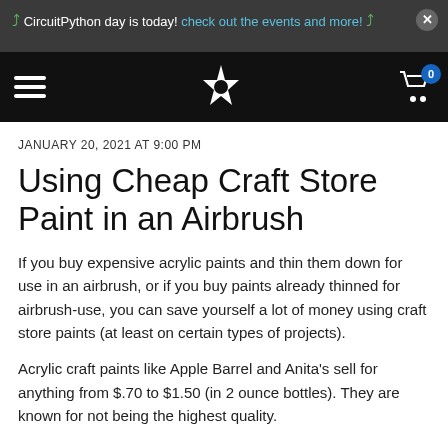CircuitPython day is today! check out the events and more!
[Figure (screenshot): Black navigation bar with hamburger menu icon on left, white star/flower logo in center, shopping cart icon with blue badge showing 0 on right]
JANUARY 20, 2021 AT 9:00 PM
Using Cheap Craft Store Paint in an Airbrush
If you buy expensive acrylic paints and thin them down for use in an airbrush, or if you buy paints already thinned for airbrush-use, you can save yourself a lot of money using craft store paints (at least on certain types of projects).
Acrylic craft paints like Apple Barrel and Anita's sell for anything from $.70 to $1.50 (in 2 ounce bottles). They are known for not being the highest quality.